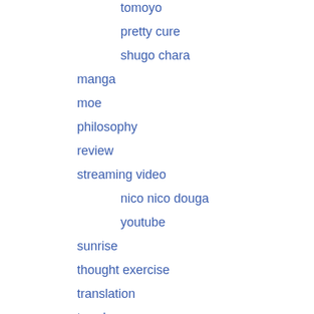tomoyo
pretty cure
shugo chara
manga
moe
philosophy
review
streaming video
nico nico douga
youtube
sunrise
thought exercise
translation
trends
Uncategorized
video games
smash bros
xam'd: lost memories